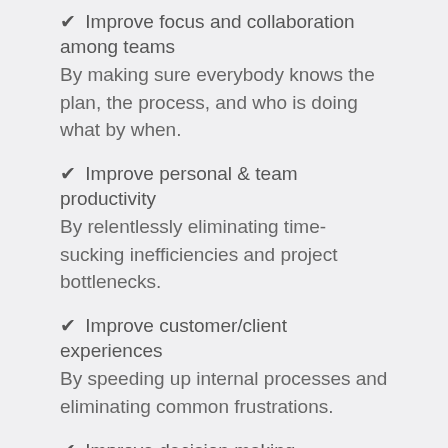✔ Improve focus and collaboration among teams
By making sure everybody knows the plan, the process, and who is doing what by when.
✔ Improve personal & team productivity
By relentlessly eliminating time-sucking inefficiencies and project bottlenecks.
✔ Improve customer/client experiences
By speeding up internal processes and eliminating common frustrations.
✔ Improve decision making
By monitoring key metrics and making data-driven decisions.